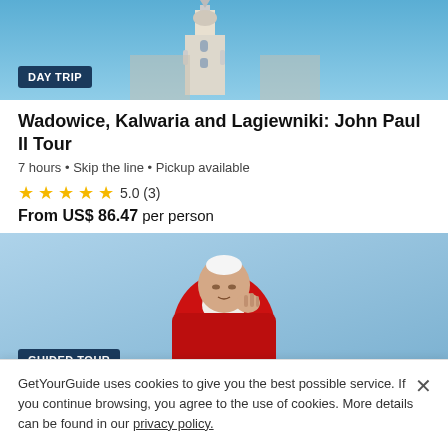[Figure (photo): Blue sky and church/building top photo with DAY TRIP badge overlay]
Wadowice, Kalwaria and Lagiewniki: John Paul II Tour
7 hours · Skip the line · Pickup available
★★★★★ 5.0 (3)
From US$ 86.47 per person
[Figure (photo): Photo of a man in red ceremonial robes with GUIDED TOUR badge overlay]
Home Town of John Paul II: 5-Hour Private Trip to Wadowice
5 hours · Skip the line · Small group
GetYourGuide uses cookies to give you the best possible service. If you continue browsing, you agree to the use of cookies. More details can be found in our privacy policy.